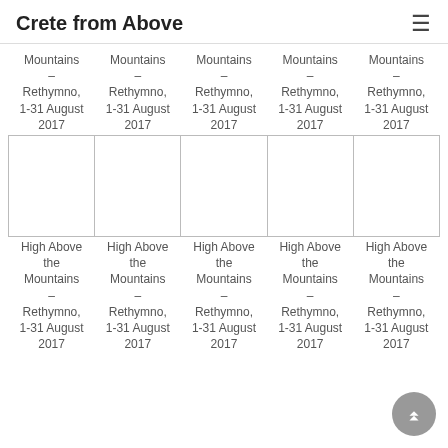Crete from Above
| Mountains – Rethymno, 1-31 August 2017 | Mountains – Rethymno, 1-31 August 2017 | Mountains – Rethymno, 1-31 August 2017 | Mountains – Rethymno, 1-31 August 2017 | Mountains – Rethymno, 1-31 August 2017 |
| --- | --- | --- | --- | --- |
| [image] | [image] | [image] | [image] | [image] |
| High Above the Mountains – Rethymno, 1-31 August 2017 | High Above the Mountains – Rethymno, 1-31 August 2017 | High Above the Mountains – Rethymno, 1-31 August 2017 | High Above the Mountains – Rethymno, 1-31 August 2017 | High Above the Mountains – Rethymno, 1-31 August 2017 |